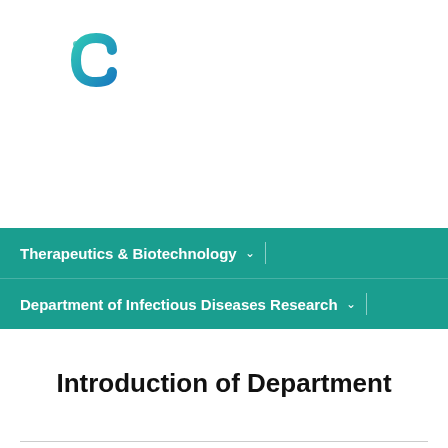[Figure (logo): Circular 'C' logo in teal/blue gradient with dots, representing a biotech/medical organization]
Therapeutics & Biotechnology
Department of Infectious Diseases Research
Introduction of Department